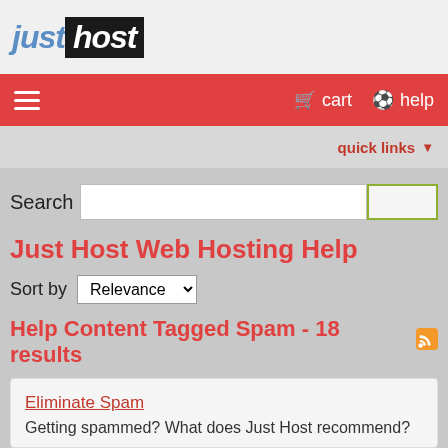justhost
cart  help
quick links
Search
Just Host Web Hosting Help
Sort by Relevance
Help Content Tagged Spam - 18 results
Eliminate Spam
Getting spammed? What does Just Host recommend?